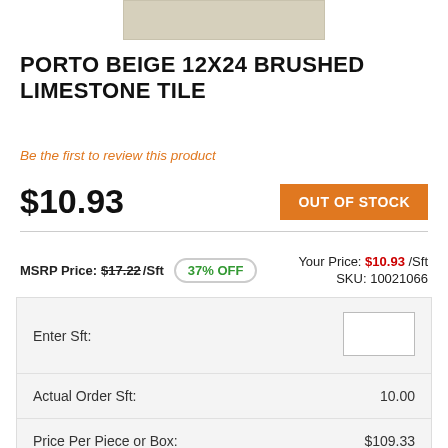[Figure (photo): Partial product image of Porto Beige limestone tile, beige/tan colored tile sample]
PORTO BEIGE 12X24 BRUSHED LIMESTONE TILE
Be the first to review this product
$10.93  OUT OF STOCK
MSRP Price: $17.22 /Sft  37% OFF  Your Price: $10.93 /Sft  SKU: 10021066
| Label | Value |
| --- | --- |
| Enter Sft: |  |
| Actual Order Sft: | 10.00 |
| Price Per Piece or Box: | $109.33 |